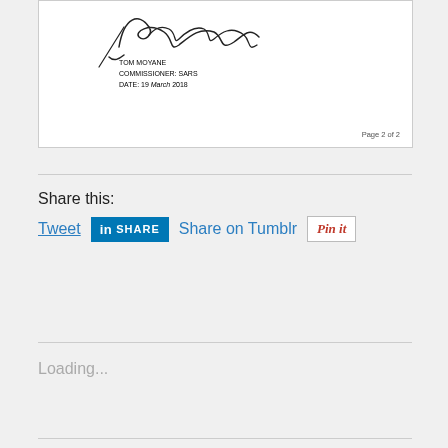[Figure (other): Scanned document page showing a handwritten signature above the text: TOM MOYANE, COMMISSIONER: SARS, DATE: 19 March 2018. Bottom right shows 'Page 2 of 2'.]
Share this:
[Figure (other): Social sharing buttons: Tweet (blue underlined link), LinkedIn Share button (blue), Share on Tumblr (blue link), Pinterest Pin it button (outlined with red italic text).]
Loading...